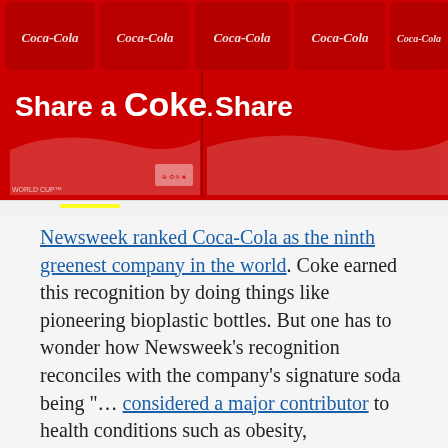[Figure (photo): Photograph of Coca-Cola 'Share a Coke' branded packaging/boxes in red with white wave logo and white text reading 'Share a Coke']
Newsweek ranked Coca-Cola as the ninth greenest company in the world. Coke earned this recognition by doing things like pioneering bioplastic bottles. But one has to wonder how Newsweek's recognition reconciles with the company's signature soda being "... considered a major contributor to health conditions such as obesity, type 2 diabetes, and tooth decay"